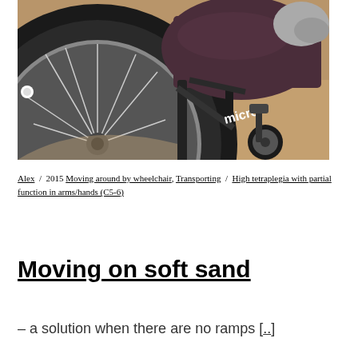[Figure (photo): Close-up photograph of a wheelchair showing the large rear wheel with spokes, a dark purple/maroon seat cushion, black metal frame, and small front caster wheel. Visible on the frame is text reading 'micro'. Person's shoe visible in upper right. Brown carpet/floor in background.]
Alex / 2015 Moving around by wheelchair, Transporting / High tetraplegia with partial function in arms/hands (C5-6)
Moving on soft sand
– a solution when there are no ramps [..]